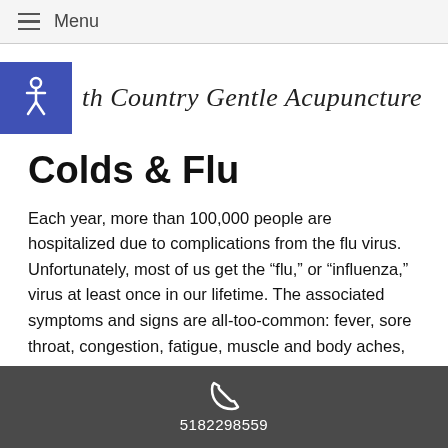Menu
[Figure (logo): North Country Gentle Acupuncture logo with accessibility icon on blue background]
Colds & Flu
Each year, more than 100,000 people are hospitalized due to complications from the flu virus. Unfortunately, most of us get the “flu,” or “influenza,” virus at least once in our lifetime. The associated symptoms and signs are all-too-common: fever, sore throat, congestion, fatigue, muscle and body aches, runny
5182298559